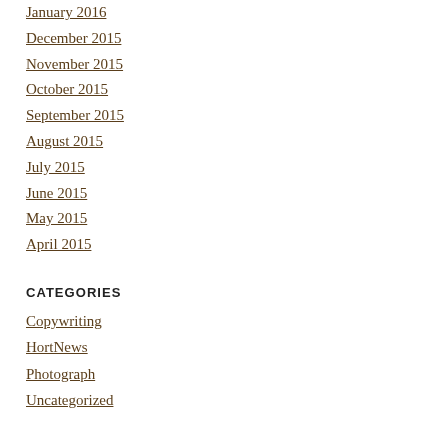January 2016
December 2015
November 2015
October 2015
September 2015
August 2015
July 2015
June 2015
May 2015
April 2015
CATEGORIES
Copywriting
HortNews
Photograph
Uncategorized